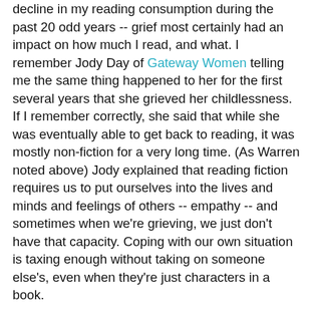decline in my reading consumption during the past 20 odd years -- grief most certainly had an impact on how much I read, and what. I remember Jody Day of Gateway Women telling me the same thing happened to her for the first several years that she grieved her childlessness. If I remember correctly, she said that while she was eventually able to get back to reading, it was mostly non-fiction for a very long time. (As Warren noted above) Jody explained that reading fiction requires us to put ourselves into the lives and minds and feelings of others -- empathy -- and sometimes when we're grieving, we just don't have that capacity. Coping with our own situation is taxing enough without taking on someone else's, even when they're just characters in a book.
This rang true to me. My fiction reading took a real hit in the years after stillbirth and infertility, although there were a few exceptions, which I think I've mentioned in previous posts on this blog. I fondly remember reading "Bridget Jones's Diary" by Helen Fielding, not too long after Katie's stillbirth in the summer/fall of 1998, and having to stifle my impulse to laugh out loud while reading it on public transit. At a time when I felt like I might never laugh again, it was a real comfort to